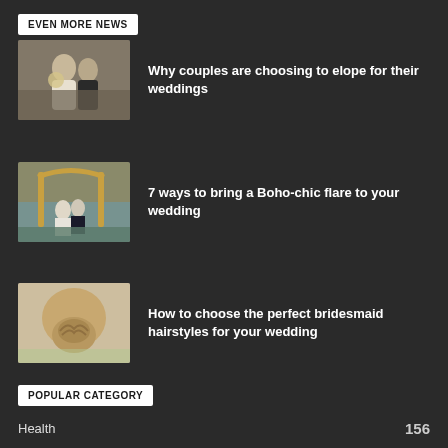EVEN MORE NEWS
Why couples are choosing to elope for their weddings
7 ways to bring a Boho-chic flare to your wedding
How to choose the perfect bridesmaid hairstyles for your wedding
POPULAR CATEGORY
Health	156